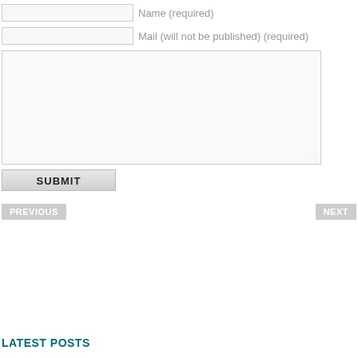Name (required)
Mail (will not be published) (required)
SUBMIT
PREVIOUS
NEXT
LATEST POSTS